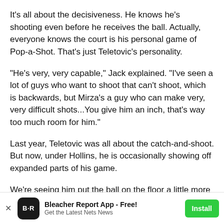It's all about the decisiveness. He knows he's shooting even before he receives the ball. Actually, everyone knows the court is his personal game of Pop-a-Shot. That's just Teletovic's personality.
"He's very, very capable," Jack explained. "I've seen a lot of guys who want to shoot that can't shoot, which is backwards, but Mirza's a guy who can make very, very difficult shots...You give him an inch, that's way too much room for him."
Last year, Teletovic was all about the catch-and-shoot. But now, under Hollins, he is occasionally showing off expanded parts of his game.
We're seeing him put the ball on the floor a little more
[Figure (screenshot): Bleacher Report App advertisement banner at bottom: 'Bleacher Report App - Free! Get the Latest Nets News' with Install button]